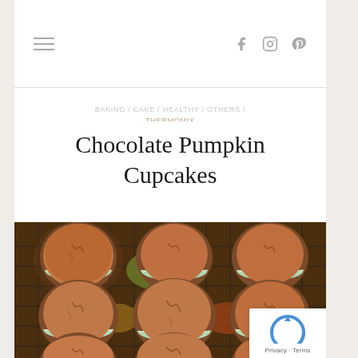Navigation bar with hamburger menu and social icons (Facebook, Instagram, Pinterest)
BAKING / CAKE / HEALTHY / OTHERS / THERMOMIX
Chocolate Pumpkin Cupcakes
[Figure (photo): Overhead view of nine chocolate pumpkin cupcakes in mint/white paper liners arranged on a wire cooling rack with a colourful autumn background.]